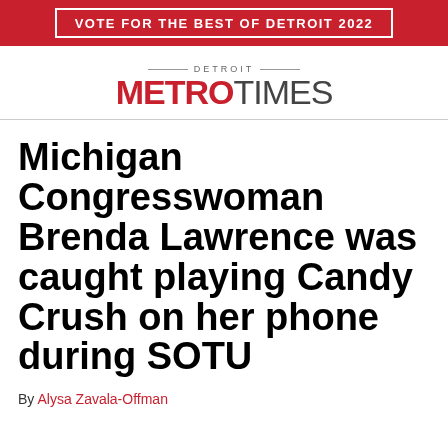VOTE FOR THE BEST OF DETROIT 2022
[Figure (logo): Detroit Metro Times logo with red METRO and gray TIMES wordmark]
Michigan Congresswoman Brenda Lawrence was caught playing Candy Crush on her phone during SOTU
By Alysa Zavala-Offman